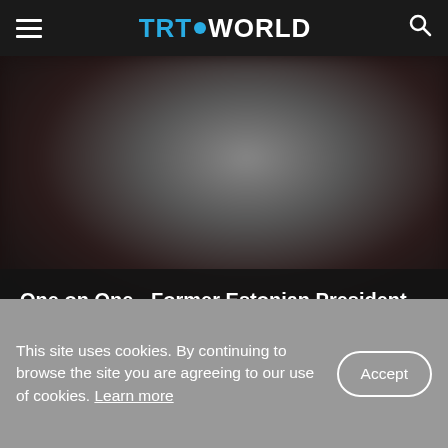TRT WORLD
[Figure (screenshot): Blurred dark video thumbnail showing indistinct figures against a dark background]
One on One - Former Estonian President Kersti Kaljulaid
This site uses cookies. By continuing to browse the site you are agreeing to our use of cookies. Learn more